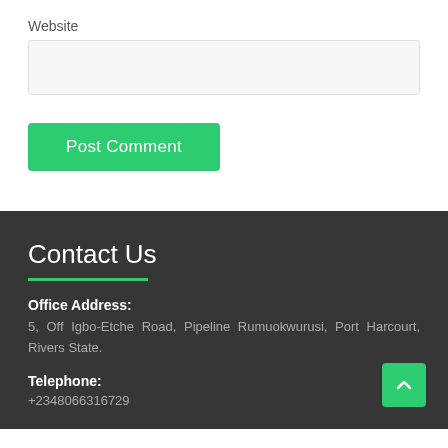Website
Post Comment
Contact Us
Office Address:
5, Off Igbo-Etche Road, Pipeline Rumuokwurusi, Port Harcourt, Rivers State.
Telephone:
+2348066316729